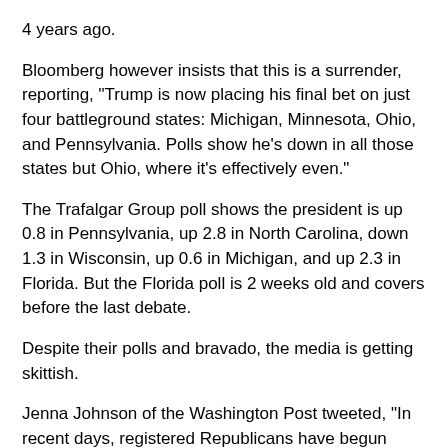4 years ago.
Bloomberg however insists that this is a surrender, reporting, "Trump is now placing his final bet on just four battleground states: Michigan, Minnesota, Ohio, and Pennsylvania. Polls show he's down in all those states but Ohio, where it's effectively even."
The Trafalgar Group poll shows the president is up 0.8 in Pennsylvania, up 2.8 in North Carolina, down 1.3 in Wisconsin, up 0.6 in Michigan, and up 2.3 in Florida. But the Florida poll is 2 weeks old and covers before the last debate.
Despite their polls and bravado, the media is getting skittish.
Jenna Johnson of the Washington Post tweeted, "In recent days, registered Republicans have begun closing the early-vote gap among the total ballots cast in Florida, Iowa, North Carolina and Pennsylvania."
They waited for the lines to slim down.